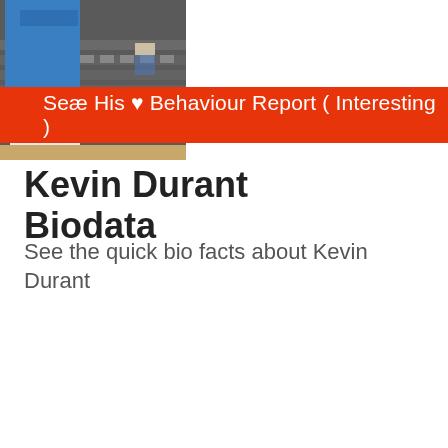[Figure (photo): Basketball player wearing a blue Oklahoma City Thunder jersey standing on the court with arena seats in the background. The word THUNDER is visible on the jersey. A red banner overlays part of the image.]
See His ♥ Behaviour Report ( Interesting )
Kevin Durant Biodata
See the quick bio facts about Kevin Durant